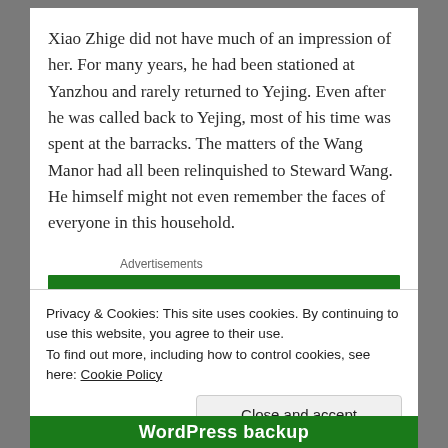Xiao Zhige did not have much of an impression of her. For many years, he had been stationed at Yanzhou and rarely returned to Yejing. Even after he was called back to Yejing, most of his time was spent at the barracks. The matters of the Wang Manor had all been relinquished to Steward Wang. He himself might not even remember the faces of everyone in this household.
Advertisements
[Figure (other): Green advertisement banner bar]
Privacy & Cookies: This site uses cookies. By continuing to use this website, you agree to their use. To find out more, including how to control cookies, see here: Cookie Policy
Close and accept
WordPress backup